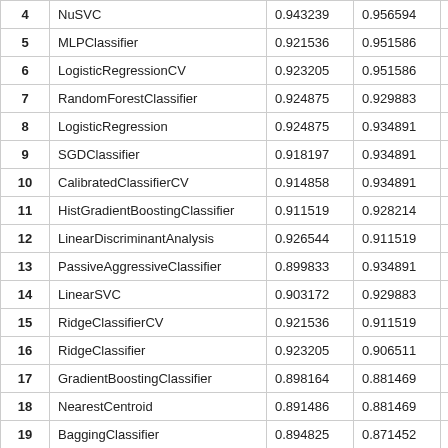| # | Classifier | Col1 | Col2 | Col3 | Col4 |
| --- | --- | --- | --- | --- | --- |
| 4 | NuSVC | 0.943239 | 0.956594 | 0.936561 | 0.9… |
| 5 | MLPClassifier | 0.921536 | 0.951586 | 0.933222 | 0.9… |
| 6 | LogisticRegressionCV | 0.923205 | 0.951586 | 0.928214 | 0.9… |
| 7 | RandomForestClassifier | 0.924875 | 0.929883 | 0.933222 | 0.9… |
| 8 | LogisticRegression | 0.924875 | 0.934891 | 0.923205 | 0.9… |
| 9 | SGDClassifier | 0.918197 | 0.934891 | 0.901503 | 0.9… |
| 10 | CalibratedClassifierCV | 0.914858 | 0.934891 | 0.903172 | 0.9… |
| 11 | HistGradientBoostingClassifier | 0.911519 | 0.928214 | 0.908180 | 0.9… |
| 12 | LinearDiscriminantAnalysis | 0.926544 | 0.911519 | 0.906511 | 0.9… |
| 13 | PassiveAggressiveClassifier | 0.899833 | 0.934891 | 0.903172 | 0.9… |
| 14 | LinearSVC | 0.903172 | 0.929883 | 0.888147 | 0.9… |
| 15 | RidgeClassifierCV | 0.921536 | 0.911519 | 0.879800 | 0.9… |
| 16 | RidgeClassifier | 0.923205 | 0.906511 | 0.879800 | 0.9… |
| 17 | GradientBoostingClassifier | 0.898164 | 0.881469 | 0.906511 | 0.8… |
| 18 | NearestCentroid | 0.891486 | 0.881469 | 0.881469 | 0.8… |
| 19 | BaggingClassifier | 0.894825 | 0.871452 | 0.846411 | 0.8… |
| 20 | GaussianNB | 0.881469 | 0.851419 | 0.863105 | 0.8… |
| 21 | Perceptron | 0.869783 | 0.874791 | 0.789649 | 0.… |